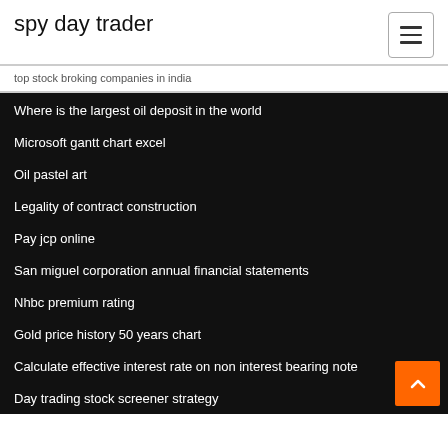spy day trader
top stock broking companies in india
Where is the largest oil deposit in the world
Microsoft gantt chart excel
Oil pastel art
Legality of contract construction
Pay jcp online
San miguel corporation annual financial statements
Nhbc premium rating
Gold price history 50 years chart
Calculate effective interest rate on non interest bearing note
Day trading stock screener strategy